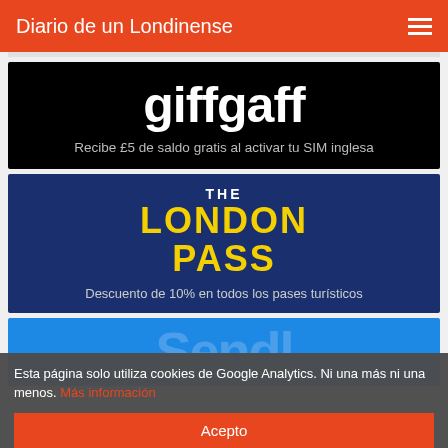Diario de un Londinense
[Figure (illustration): giffgaff logo banner on black background with text: Recibe £5 de saldo gratis al activar tu SIM inglesa]
[Figure (illustration): The London Pass banner on dark blue background with text: Descuento de 10% en todos los pases turísticos]
[Figure (illustration): Partial blue banner partially obscured by cookie overlay with text: 10% de descuento en envíos de paquetes y maletas]
Esta página solo utiliza cookies de Google Analytics. Ni una más ni una menos. Más información
Acepto